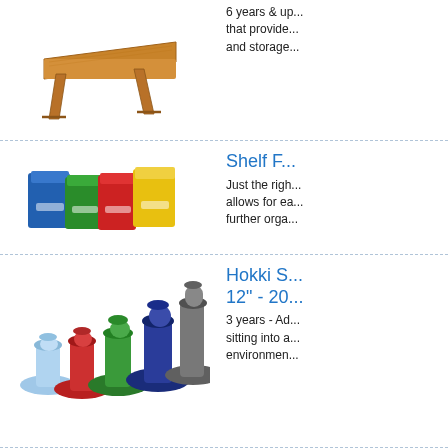[Figure (photo): Wooden folding lap desk/table with natural wood finish]
6 years & up... that provide... and storage...
[Figure (photo): Colorful plastic shelf bins in blue, green, red, and yellow]
Shelf F...
Just the righ... allows for ea... further orga...
[Figure (photo): Hokki stools in multiple sizes and colors: light blue, red, green, dark blue, gray]
Hokki S... 12" - 20...
3 years - Ad... sitting into a... environmen...